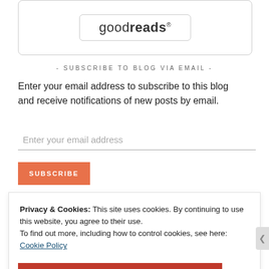[Figure (logo): Goodreads logo inside a rounded rectangle border]
- SUBSCRIBE TO BLOG VIA EMAIL -
Enter your email address to subscribe to this blog and receive notifications of new posts by email.
Enter your email address
SUBSCRIBE
Privacy & Cookies: This site uses cookies. By continuing to use this website, you agree to their use.
To find out more, including how to control cookies, see here: Cookie Policy
Close and accept